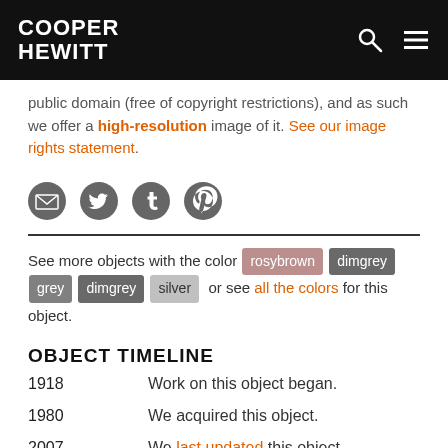COOPER HEWITT
public domain (free of copyright restrictions), and as such we offer a high-resolution image of it. See our image rights statement.
[Figure (infographic): Social sharing icons: email, Twitter, Tumblr, Pinterest]
See more objects with the color rosybrown dimgrey grey dimgrey silver or see all the colors for this object.
OBJECT TIMELINE
1918 — Work on this object began.
1980 — We acquired this object.
2007 — We last updated this object.